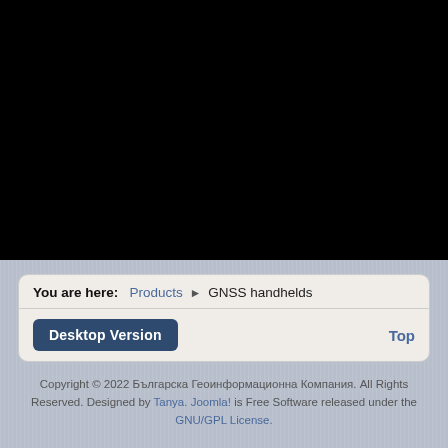[Figure (other): Large black rectangular area occupying the top portion of the page]
You are here: Products ▶ GNSS handhelds
Desktop Version   Top
Copyright © 2022 Българска Геоинформационна Компания. All Rights Reserved. Designed by Tanya. Joomla! is Free Software released under the GNU/GPL License.